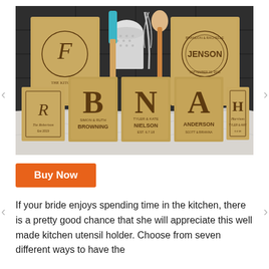[Figure (photo): Photograph of multiple personalized bamboo kitchen utensil holders with engraved monograms and family names including F, Jenson, R/The Robertson, B/Browning, N/Nielson, A/Anderson, H/Harrison. Kitchen utensils (whisk, spatula, wooden spoon) are visible in the background. Items sit on a marble countertop with dark tile backsplash.]
Buy Now
If your bride enjoys spending time in the kitchen, there is a pretty good chance that she will appreciate this well made kitchen utensil holder. Choose from seven different ways to have the